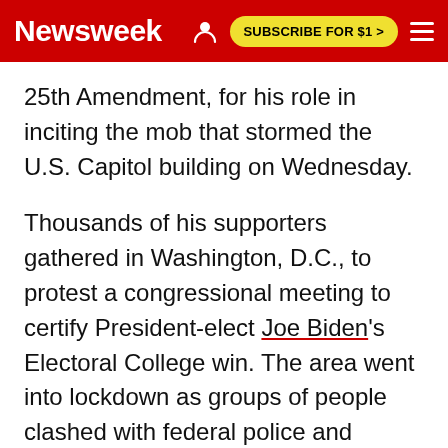Newsweek | SUBSCRIBE FOR $1 >
25th Amendment, for his role in inciting the mob that stormed the U.S. Capitol building on Wednesday.
Thousands of his supporters gathered in Washington, D.C., to protest a congressional meeting to certify President-elect Joe Biden's Electoral College win. The area went into lockdown as groups of people clashed with federal police and breached the building. Five people died during the riot, including one Capitol police officer.